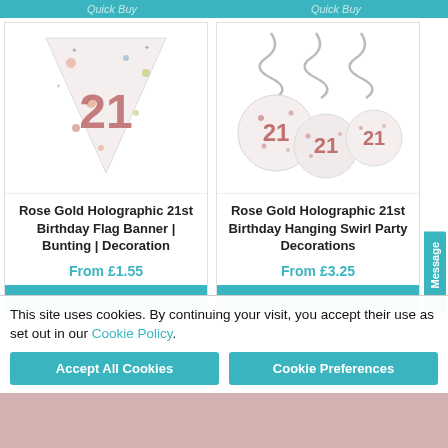[Figure (screenshot): Top teal Quick Buy button bar, partially visible at top of page]
[Figure (photo): Rose Gold Holographic 21st Birthday Flag Banner / Bunting - white pennant with rose gold number 21 and colorful dots]
Rose Gold Holographic 21st Birthday Flag Banner | Bunting | Decoration
From £1.55
[Figure (photo): Rose Gold Holographic 21st Birthday Hanging Swirl Party Decorations - circular discs with 21 and hanging silver swirls]
Rose Gold Holographic 21st Birthday Hanging Swirl Party Decorations
From £3.25
Quick Buy
Quick Buy
Message
This site uses cookies. By continuing your visit, you accept their use as set out in our Cookie Policy.
Accept All Cookies
Cookie Preferences